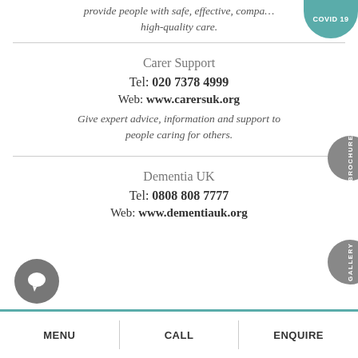provide people with safe, effective, compa... high-quality care.
Carer Support
Tel: 020 7378 4999
Web: www.carersuk.org
Give expert advice, information and support to people caring for others.
Dementia UK
Tel: 0808 808 7777
Web: www.dementiauk.org
MENU | CALL | ENQUIRE